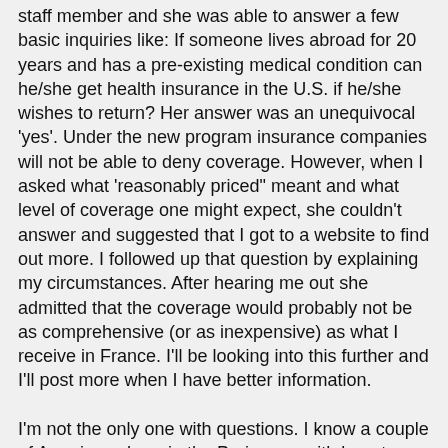staff member and she was able to answer a few basic inquiries like:  If someone lives abroad for 20 years and has a pre-existing medical condition can he/she get health insurance in the U.S. if he/she wishes to return?  Her answer was an unequivocal 'yes'.  Under the new program insurance companies will not be able to deny coverage.  However, when I asked what 'reasonably priced" meant and what level of coverage one might expect, she couldn't answer and suggested that I got to a website to find out more.  I followed up that question by explaining my circumstances.  After hearing me out she admitted that the coverage would probably not be as comprehensive (or as inexpensive) as what I receive in France.  I'll be looking into this further and I'll post more when I have better information.
I'm not the only one with questions.  I know a couple of Americans here in the Paris area with long-term life-threatening health conditions.  One case I know of personally is someone who is very ill and on permanent disability here in France.  They have long considered the lack of national health insurance in the U.S. to be an impediment to ever returning there to live.  Going home to